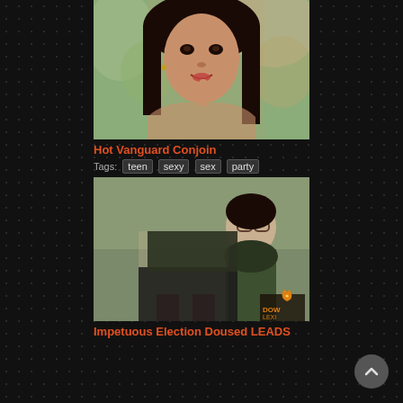[Figure (photo): Thumbnail photo of a young woman with dark hair outdoors, finger near her mouth]
Hot Vanguard Conjoin
Tags: teen sexy sex party
[Figure (photo): Thumbnail photo of two people outdoors, one wearing glasses and dark clothing]
Impetuous Election Doused LEADS